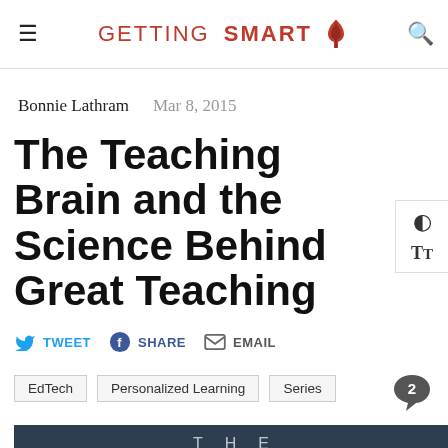GETTING SMART
Bonnie Lathram   Mar 8, 2015
The Teaching Brain and the Science Behind Great Teaching
TWEET  SHARE  EMAIL
EdTech
Personalized Learning
Series
[Figure (photo): Featured article image showing 'The Teaching' text in large white letters on a dark blue-grey background]